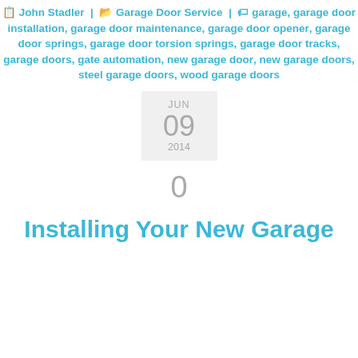John Stadler | Garage Door Service | garage, garage door installation, garage door maintenance, garage door opener, garage door springs, garage door torsion springs, garage door tracks, garage doors, gate automation, new garage door, new garage doors, steel garage doors, wood garage doors
JUN 09 2014
0
Installing Your New Garage